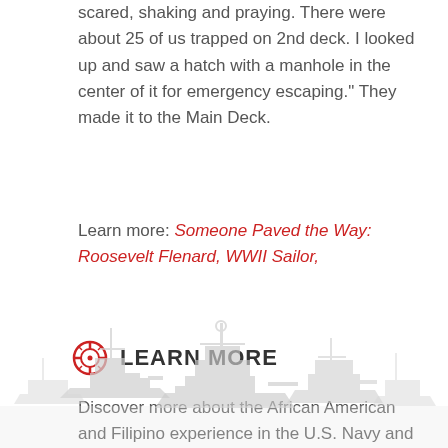scared, shaking and praying. There were about 25 of us trapped on 2nd deck. I looked up and saw a hatch with a manhole in the center of it for emergency escaping." They made it to the Main Deck.
Learn more: Someone Paved the Way: Roosevelt Flenard, WWII Sailor,
LEARN MORE
Discover more about the African American and Filipino experience in the U.S. Navy and the trailblazers who forged a path, from the Naval History and Heritage Command. Click here for more.
[Figure (illustration): Light gray silhouette of naval warships on the horizon at the bottom of the page]